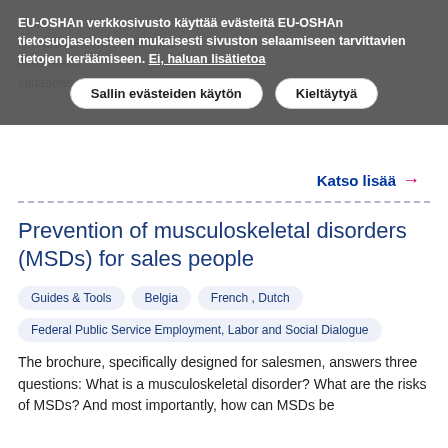mu... prevention... illustrated... situations.
EU-OSHAn verkkosivusto käyttää evästeitä EU-OSHAn tietosuojaselosteen mukaisesti sivuston selaamiseen tarvittavien tietojen keräämiseen. Ei, haluan lisätietoa
Sallin evästeiden käytön | Kieltäytyä
Katso lisää →
Prevention of musculoskeletal disorders (MSDs) for sales people
Guides & Tools    Belgia    French , Dutch
Federal Public Service Employment, Labor and Social Dialogue
The brochure, specifically designed for salesmen, answers three questions: What is a musculoskeletal disorder? What are the risks of MSDs? And most importantly, how can MSDs be